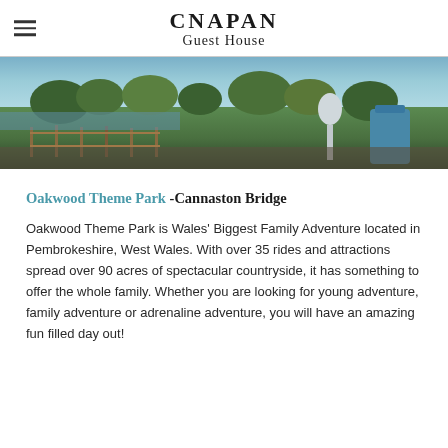CNAPAN Guest House
[Figure (photo): Outdoor photo of Oakwood Theme Park showing fenced ride areas, trees, and colorful attractions including what appears to be a large spoon-shaped ride element, with blue sky background]
Oakwood Theme Park -Cannaston Bridge
Oakwood Theme Park is Wales' Biggest Family Adventure located in Pembrokeshire, West Wales. With over 35 rides and attractions spread over 90 acres of spectacular countryside, it has something to offer the whole family. Whether you are looking for young adventure, family adventure or adrenaline adventure, you will have an amazing fun filled day out!